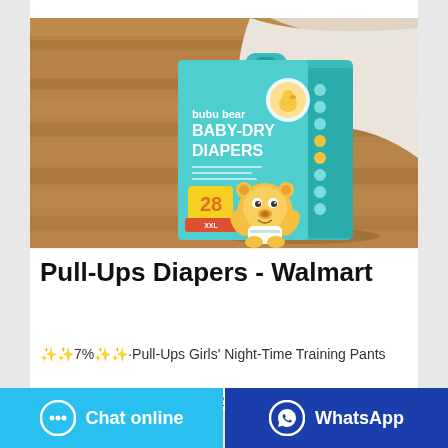[Figure (photo): Product photo of Bubu Bear Baby-Dry Diapers box (28 count, size XXL) in teal/turquoise packaging with a cartoon bear mascot, placed on a wooden surface with white fabric in background.]
Pull-Ups Diapers - Walmart
节省7%优惠·Pull-Ups Girls' Night-Time Training Pants (Choose Size and Count) 352 4.1 out of 5 Stars